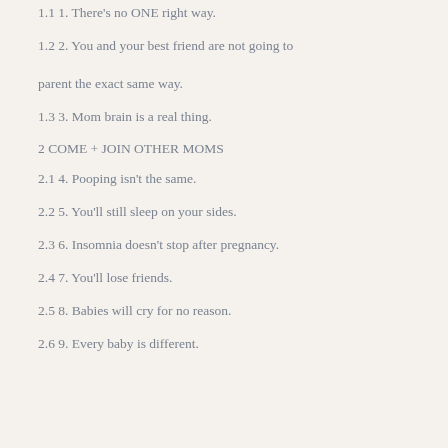1.1 1. There's no ONE right way.
1.2 2. You and your best friend are not going to parent the exact same way.
1.3 3. Mom brain is a real thing.
2 COME + JOIN OTHER MOMS
2.1 4. Pooping isn't the same.
2.2 5. You'll still sleep on your sides.
2.3 6. Insomnia doesn't stop after pregnancy.
2.4 7. You'll lose friends.
2.5 8. Babies will cry for no reason.
2.6 9. Every baby is different.